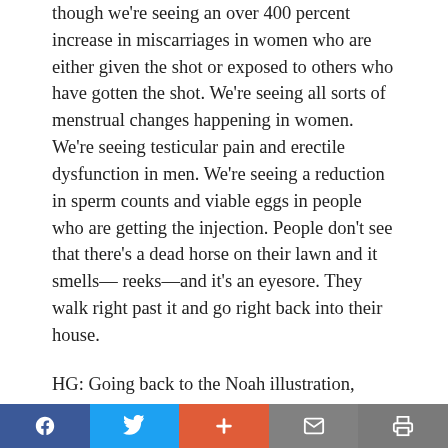though we're seeing an over 400 percent increase in miscarriages in women who are either given the shot or exposed to others who have gotten the shot. We're seeing all sorts of menstrual changes happening in women. We're seeing testicular pain and erectile dysfunction in men. We're seeing a reduction in sperm counts and viable eggs in people who are getting the injection. People don't see that there's a dead horse on their lawn and it smells— reeks—and it's an eyesore. They walk right past it and go right back into their house.
HG: Going back to the Noah illustration,
Facebook | Twitter | + | mail | print